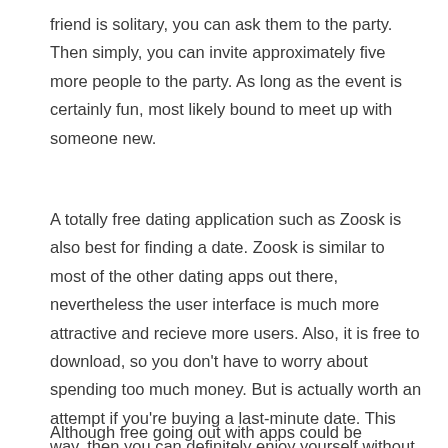friend is solitary, you can ask them to the party. Then simply, you can invite approximately five more people to the party. As long as the event is certainly fun, most likely bound to meet up with someone new.
A totally free dating application such as Zoosk is also best for finding a date. Zoosk is similar to most of the other dating apps out there, nevertheless the user interface is much more attractive and recieve more users. Also, it is free to download, so you don't have to worry about spending too much money. But is actually worth an attempt if you're buying a last-minute date. This way, then you can definitely enjoy yourself without paying money to have a date.
Although free going out with apps could be intimidating, you will need to try various kinds of dating apps before choosing the one that's right in your case. Paying for the ideal dating iphone app won't promise success, but it surely will help you to fulfill the perfect person. You'll be more likely to find somebody compatible